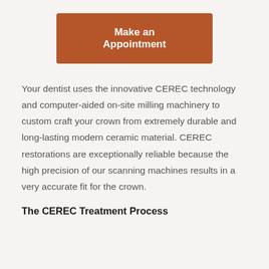[Figure (other): Brown/rust-colored button labeled 'Make an Appointment']
Your dentist uses the innovative CEREC technology and computer-aided on-site milling machinery to custom craft your crown from extremely durable and long-lasting modern ceramic material. CEREC restorations are exceptionally reliable because the high precision of our scanning machines results in a very accurate fit for the crown.
The CEREC Treatment Process